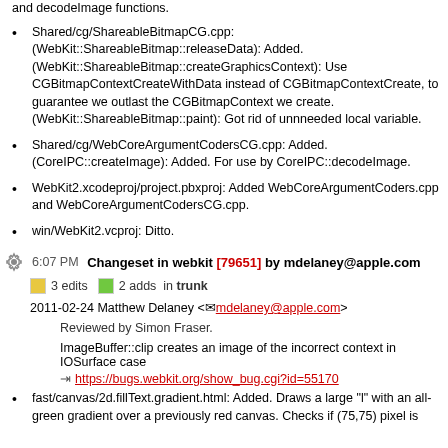and decodeImage functions.
Shared/cg/ShareableBitmapCG.cpp: (WebKit::ShareableBitmap::releaseData): Added. (WebKit::ShareableBitmap::createGraphicsContext): Use CGBitmapContextCreateWithData instead of CGBitmapContextCreate, to guarantee we outlast the CGBitmapContext we create. (WebKit::ShareableBitmap::paint): Got rid of unnneeded local variable.
Shared/cg/WebCoreArgumentCodersCG.cpp: Added. (CoreIPC::createImage): Added. For use by CoreIPC::decodeImage.
WebKit2.xcodeproj/project.pbxproj: Added WebCoreArgumentCoders.cpp and WebCoreArgumentCodersCG.cpp.
win/WebKit2.vcproj: Ditto.
6:07 PM Changeset in webkit [79651] by mdelaney@apple.com
3 edits   2 adds   in trunk
2011-02-24 Matthew Delaney <mdelaney@apple.com>
Reviewed by Simon Fraser.
ImageBuffer::clip creates an image of the incorrect context in IOSurface case
https://bugs.webkit.org/show_bug.cgi?id=55170
fast/canvas/2d.fillText.gradient.html: Added. Draws a large "l" with an all-green gradient over a previously red canvas. Checks if (75,75) pixel is